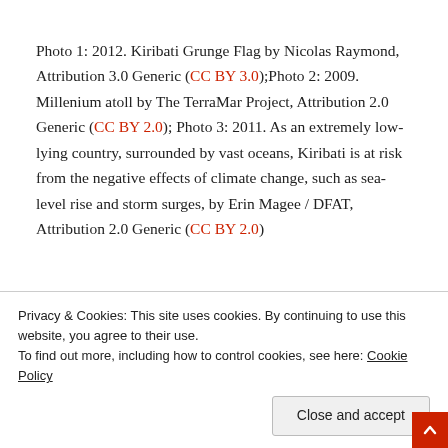Photo 1: 2012. Kiribati Grunge Flag by Nicolas Raymond, Attribution 3.0 Generic (CC BY 3.0);Photo 2: 2009. Millenium atoll by The TerraMar Project, Attribution 2.0 Generic (CC BY 2.0); Photo 3: 2011. As an extremely low-lying country, surrounded by vast oceans, Kiribati is at risk from the negative effects of climate change, such as sea-level rise and storm surges, by Erin Magee / DFAT, Attribution 2.0 Generic (CC BY 2.0)
[Figure (other): Three icons: printer icon, PDF icon, email/envelope icon]
Privacy & Cookies: This site uses cookies. By continuing to use this website, you agree to their use. To find out more, including how to control cookies, see here: Cookie Policy